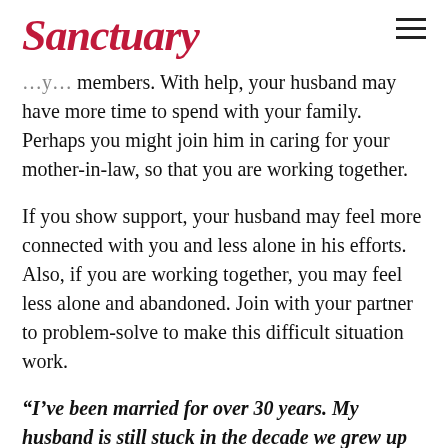Sanctuary
members. With help, your husband may have more time to spend with your family. Perhaps you might join him in caring for your mother-in-law, so that you are working together.
If you show support, your husband may feel more connected with you and less alone in his efforts. Also, if you are working together, you may feel less alone and abandoned. Join with your partner to problem-solve to make this difficult situation work.
“I’ve been married for over 30 years. My husband is still stuck in the decade we grew up in. I like to listen to more contemporary music and dress in fashionable